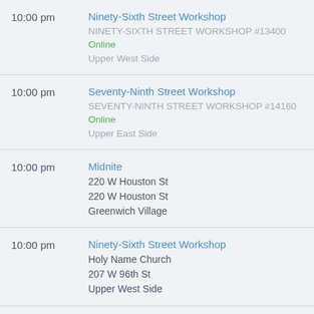10:00 pm — Ninety-Sixth Street Workshop, NINETY-SIXTH STREET WORKSHOP #13400, Online, Upper West Side
10:00 pm — Seventy-Ninth Street Workshop, SEVENTY-NINTH STREET WORKSHOP #14160, Online, Upper East Side
10:00 pm — Midnite, 220 W Houston St, 220 W Houston St, Greenwich Village
10:00 pm — Ninety-Sixth Street Workshop, Holy Name Church, 207 W 96th St, Upper West Side
10:00 pm — Bleeding Deacons, North Brooklyn Recovery